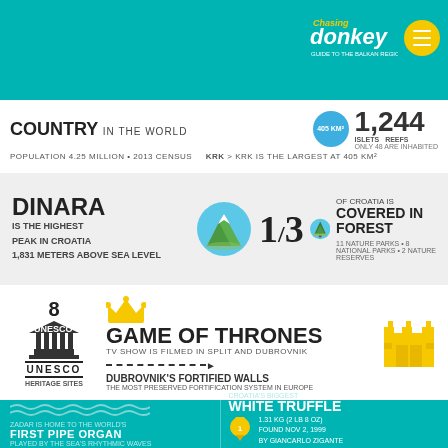[Figure (logo): Chasing the Donkey logo with menu icon on teal header]
COUNTRY IN THE WORLD
POPULATION 4.25 MILLION • 2013 CENSUS
1,244 ISLETS REEFS
ONLY 48 ARE INHABITED
KRK > KRK IS THE LARGEST AT 405 KM²
DINARA IS THE HIGHEST PEAK IN CROATIA 1,831 METERS ABOVE SEA LEVEL
1/3 OF CROATIA IS COVERED IN FOREST
11 NATURE PARKS • 8 NATIONAL PARKS • 2 NATURE RESERVES
8 UNESCO HERITAGE SITES
GAME OF THRONES TV SHOW IS FILMED IN SPLIT AND DUBROVNIK
DUBROVNIK'S FORTIFIED WALLS THE MOST PRESERVED FORTIFICATION SYSTEM IN EUROPE
ZADAR IS HOME TO THE WORLD'S FIRST PIPE ORGAN PLAYED BY THE SEA'S RHYTHMIC WAVES
CROATIA'S BIGGEST WHITE TRUFFLE
1.31 KG (2 LB 8 OZ)
FOUND NOV 2, 1999
BY GIANCARLO ZIGANTE
OF POTOTOSKA, CROATIA